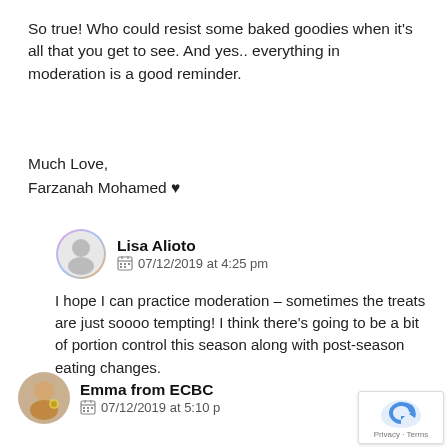So true! Who could resist some baked goodies when it's all that you get to see. And yes.. everything in moderation is a good reminder.
Much Love,
Farzanah Mohamed ♥
Lisa Alioto   07/12/2019 at 4:25 pm
I hope I can practice moderation – sometimes the treats are just soooo tempting! I think there's going to be a bit of portion control this season along with post-season eating changes.
Emma from ECBC   07/12/2019 at 5:10 p